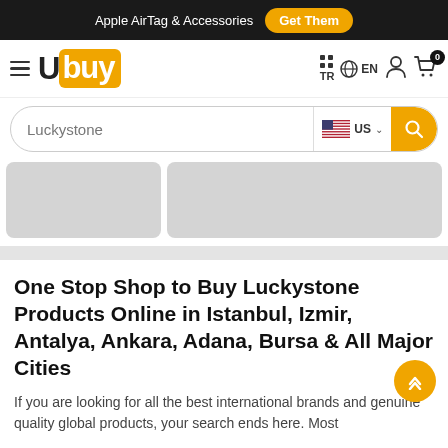Apple AirTag & Accessories  Get Them
[Figure (logo): Ubuy logo with hamburger menu, waffle icon, TR language selector, globe EN selector, person icon, and cart with badge 0]
[Figure (screenshot): Search bar with text 'Luckystone', US flag country selector, and yellow search button]
[Figure (photo): Two gray placeholder product image cards]
One Stop Shop to Buy Luckystone Products Online in Istanbul, Izmir, Antalya, Ankara, Adana, Bursa & All Major Cities
If you are looking for all the best international brands and genuine quality global products, your search ends here. Most